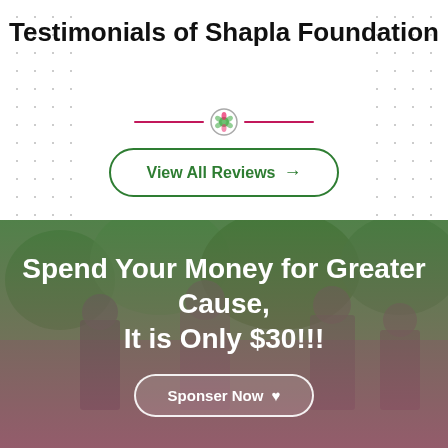Testimonials of Shapla Foundation
View All Reviews →
[Figure (photo): Group of people wearing face masks outdoors with trees in background, overlaid with green-to-pink gradient]
Spend Your Money for Greater Cause, It is Only $30!!!
Sponser Now ♥